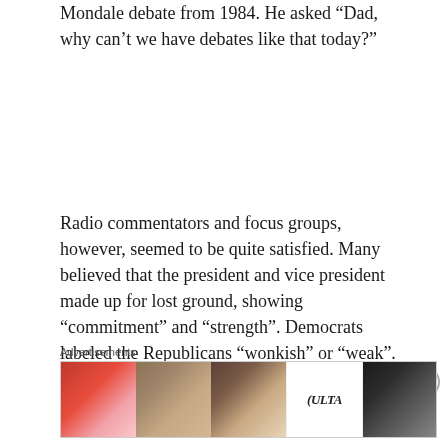Mondale debate from 1984. He asked “Dad, why can’t we have debates like that today?”
Radio commentators and focus groups, however, seemed to be quite satisfied. Many believed that the president and vice president made up for lost ground, showing “commitment” and “strength”. Democrats labeled the Republicans “wonkish” or “weak”. Behavior that would not have been tolerated in our home was lauded on
Advertisements
[Figure (photo): Ulta Beauty advertisement banner showing close-up beauty images of lips with lipstick, makeup brush, eye with mascara, Ulta Beauty logo, eye with dark eye makeup, and a SHOP NOW button]